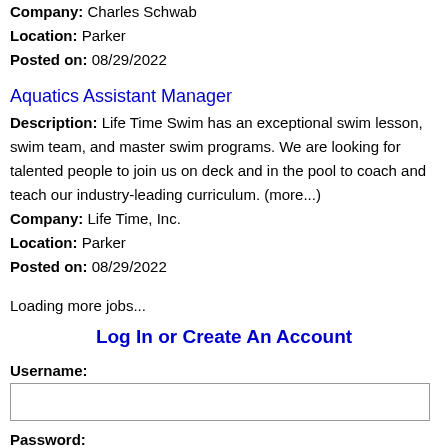Company: Charles Schwab
Location: Parker
Posted on: 08/29/2022
Aquatics Assistant Manager
Description: Life Time Swim has an exceptional swim lesson, swim team, and master swim programs. We are looking for talented people to join us on deck and in the pool to coach and teach our industry-leading curriculum. (more...)
Company: Life Time, Inc.
Location: Parker
Posted on: 08/29/2022
Loading more jobs...
Log In or Create An Account
Username:
Password: